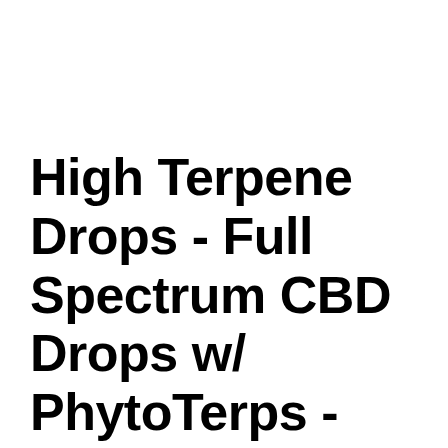High Terpene Drops - Full Spectrum CBD Drops w/ PhytoTerps - Limonene - 20mg CBD/ml (15ml, 30ml)